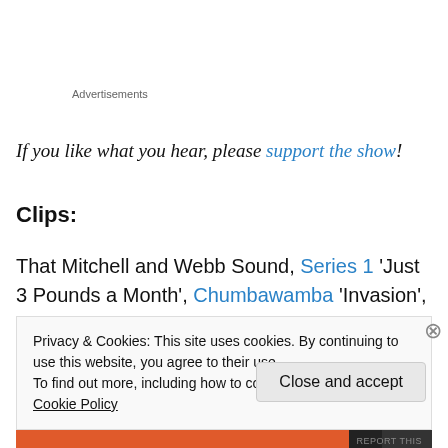Advertisements
If you like what you hear, please support the show!
Clips:
That Mitchell and Webb Sound, Series 1 'Just 3 Pounds a Month', Chumbawamba 'Invasion', 'How to get your Band on Television' and 'More Whitewashing' – all from the
Privacy & Cookies: This site uses cookies. By continuing to use this website, you agree to their use. To find out more, including how to control cookies, see here: Cookie Policy
Close and accept